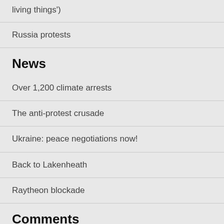living things')
Russia protests
News
Over 1,200 climate arrests
The anti-protest crusade
Ukraine: peace negotiations now!
Back to Lakenheath
Raytheon blockade
Comments